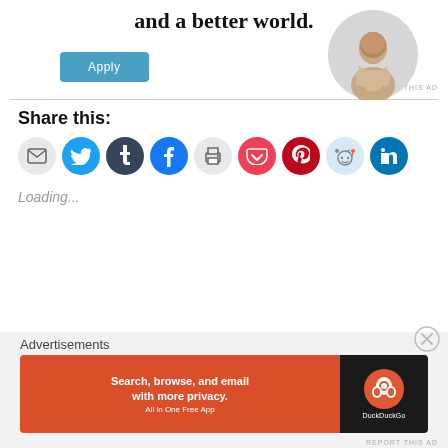and a better world.
[Figure (illustration): Apply button (teal/blue rounded rectangle with white text 'Apply')]
[Figure (photo): Circular cropped photo of a person thinking, resting chin on hand, seated at a desk]
REPORT THIS AD
Share this:
[Figure (infographic): Row of social sharing icon buttons: email (grey), Twitter (blue), Tumblr (dark), Facebook (blue), print (grey), Pocket (red), Pinterest (red), Reddit (light blue), LinkedIn (blue)]
Loading...
Advertisements
[Figure (screenshot): DuckDuckGo advertisement banner: orange-red left panel with text 'Search, browse, and email with more privacy. All in One Free App', dark right panel with DuckDuckGo logo]
REPORT THIS AD